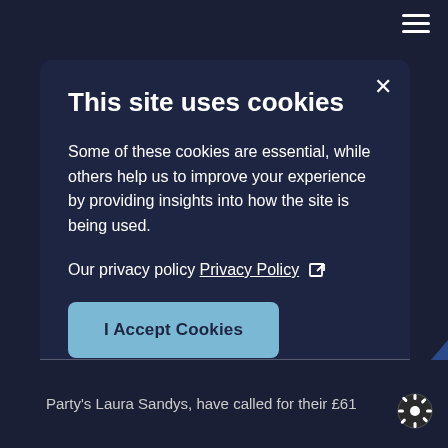This site uses cookies
Some of these cookies are essential, while others help us to improve your experience by providing insights into how the site is being used.
Our privacy policy Privacy Policy ↗
I Accept Cookies
Party's Laura Sandys, have called for their £61